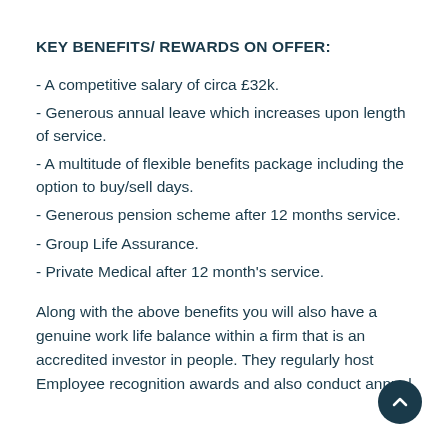KEY BENEFITS/ REWARDS ON OFFER:
- A competitive salary of circa £32k.
- Generous annual leave which increases upon length of service.
- A multitude of flexible benefits package including the option to buy/sell days.
- Generous pension scheme after 12 months service.
- Group Life Assurance.
- Private Medical after 12 month's service.
Along with the above benefits you will also have a genuine work life balance within a firm that is an accredited investor in people. They regularly host Employee recognition awards and also conduct annual